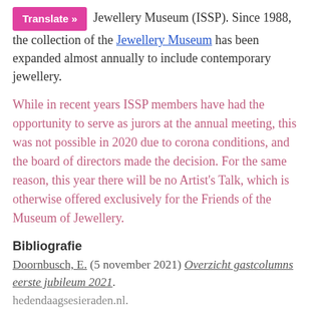Jewellery Museum (ISSP). Since 1988, the collection of the Jewellery Museum has been expanded almost annually to include contemporary jewellery.
While in recent years ISSP members have had the opportunity to serve as jurors at the annual meeting, this was not possible in 2020 due to corona conditions, and the board of directors made the decision. For the same reason, this year there will be no Artist's Talk, which is otherwise offered exclusively for the Friends of the Museum of Jewellery.
Bibliografie
Doornbusch, E. (5 november 2021) Overzicht gastcolumns eerste jubileum 2021.
hedendaagsesieraden.nl.